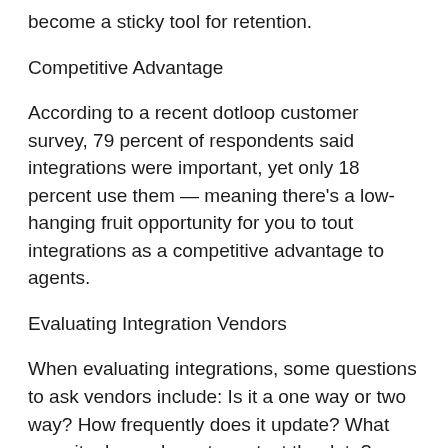become a sticky tool for retention.
Competitive Advantage
According to a recent dotloop customer survey, 79 percent of respondents said integrations were important, yet only 18 percent use them — meaning there's a low-hanging fruit opportunity for you to tout integrations as a competitive advantage to agents.
Evaluating Integration Vendors
When evaluating integrations, some questions to ask vendors include: Is it a one way or two way? How frequently does it update? What security do you have to protect the data?
3. Good Online Reputations Earn Client and Agent Trust